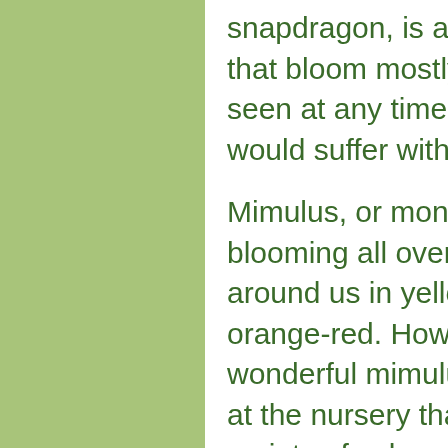snapdragon, is a perennial with red flowers that bloom mostly in spring but may be seen at any time. In our hot valleys, it would suffer without a touch of shade.
Mimulus, or monkey flower, will soon be blooming all over the hills and canyons around us in yellow, buff orange and orange-red. However, there are also wonderful mimulus hybrids now available at the nursery that come in a much greater variety of colors. The appellation ‘monkey flower’ is given on account of the smiling monkey, which some people see when they look at mimulus blooms.
Penstemon is the darling of the spring flower garden for those who insist on